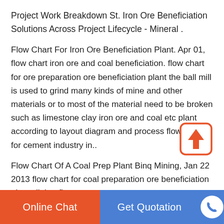Project Work Breakdown St. Iron Ore Beneficiation Solutions Across Project Lifecycle - Mineral .
Flow Chart For Iron Ore Beneficiation Plant. Apr 01, flow chart iron ore and coal beneficiation. flow chart for ore preparation ore beneficiation plant the ball mill is used to grind many kinds of mine and other materials or to most of the material need to be broken such as limestone clay iron ore and coal etc plant according to layout diagram and process flow chart for cement industry in..
Flow Chart Of A Coal Prep Plant Binq Mining, Jan 22 2013 flow chart for coal preparation ore beneficiation plant clinker flow
Online Chat   Get Quotation